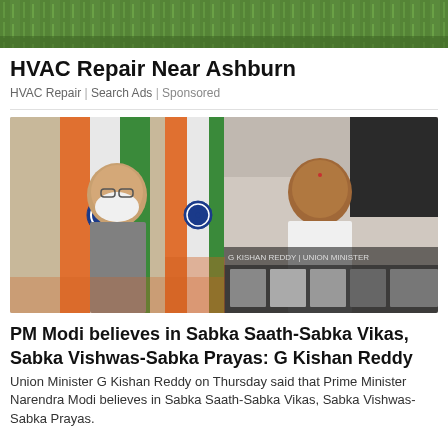[Figure (photo): Ad banner image showing green grass background]
HVAC Repair Near Ashburn
HVAC Repair | Search Ads | Sponsored
[Figure (screenshot): Video screenshot showing PM Modi on left with Indian flags and G Kishan Reddy on right in a video call setup with thumbnail strip]
PM Modi believes in Sabka Saath-Sabka Vikas, Sabka Vishwas-Sabka Prayas: G Kishan Reddy
Union Minister G Kishan Reddy on Thursday said that Prime Minister Narendra Modi believes in Sabka Saath-Sabka Vikas, Sabka Vishwas-Sabka Prayas.